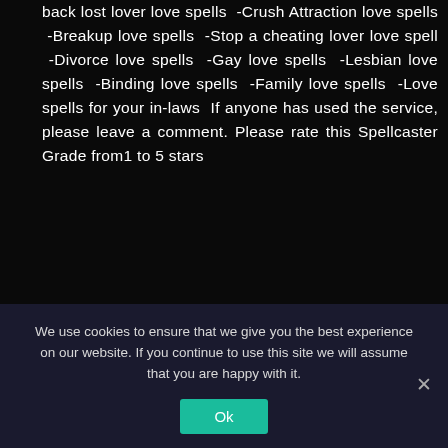back lost lover love spells -Crush Attraction love spells -Breakup love spells -Stop a cheating lover love spell -Divorce love spells -Gay love spells -Lesbian love spells -Binding love spells -Family love spells -Love spells for your in-laws If anyone has used the service, please leave a comment. Please rate this Spellcaster Grade from1 to 5 stars
READ MORE
3 Comments
We use cookies to ensure that we give you the best experience on our website. If you continue to use this site we will assume that you are happy with it.